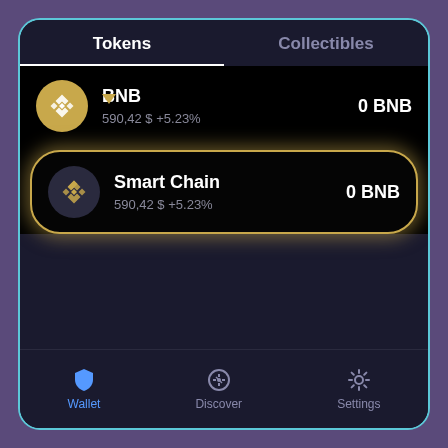[Figure (screenshot): Mobile crypto wallet app screenshot showing Tokens/Collectibles tab bar, BNB token row (590,42 $ +5.23%, 0 BNB), Smart Chain token row highlighted with yellow border (590,42 $ +5.23%, 0 BNB), and bottom navigation bar with Wallet, Discover, Settings.]